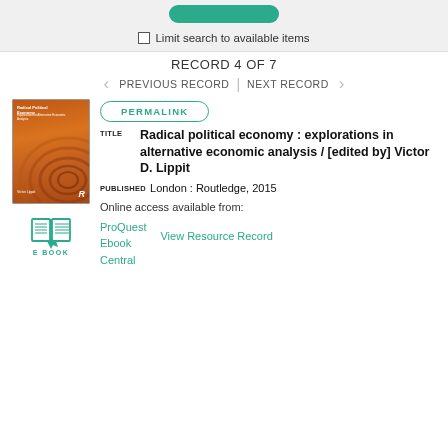Limit search to available items
RECORD 4 OF 7
PREVIOUS RECORD | NEXT RECORD
[Figure (illustration): Book cover of Radical Political Economy with orange swirl design and Routledge R logo]
[Figure (illustration): E-book icon in teal/green color with text EBOOK below]
PERMALINK
TITLE  Radical political economy : explorations in alternative economic analysis / [edited by] Victor D. Lippit
PUBLISHED  London : Routledge, 2015
Online access available from:
ProQuest Ebook Central
View Resource Record